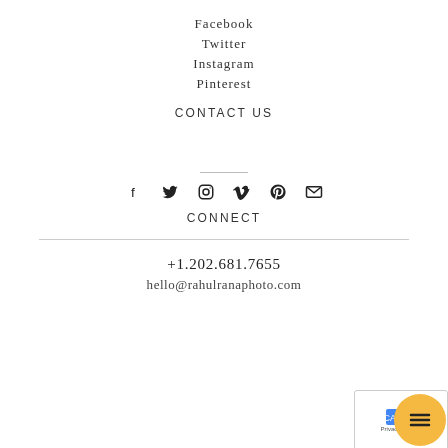Facebook
Twitter
Instagram
Pinterest
CONTACT US
[Figure (infographic): Row of six social media icons: Facebook (f), Twitter (bird), Instagram (camera), Vimeo (V), Pinterest (P), Mail (envelope)]
CONNECT
+1.202.681.7655
hello@rahulranaphoto.com